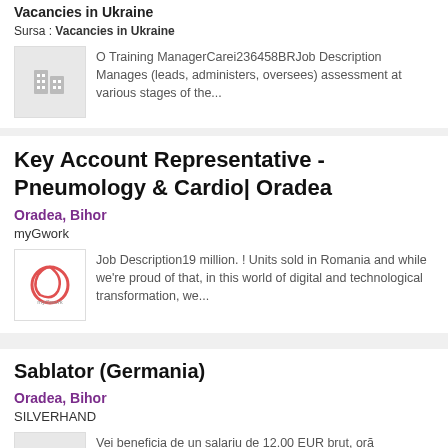Vacancies in Ukraine
Sursa : Vacancies in Ukraine
O Training ManagerCarei236458BRJob Description Manages (leads, administers, oversees) assessment at various stages of the...
Key Account Representative - Pneumology & Cardio| Oradea
Oradea, Bihor
myGwork
Job Description19 million. ! Units sold in Romania and while we're proud of that, in this world of digital and technological transformation, we...
Sablator (Germania)
Oradea, Bihor
SILVERHAND
Vei beneficia de un salariu de 12.00 EUR brut, oră